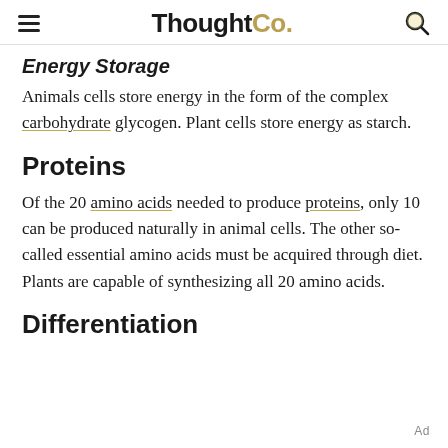ThoughtCo.
Energy Storage
Animals cells store energy in the form of the complex carbohydrate glycogen. Plant cells store energy as starch.
Proteins
Of the 20 amino acids needed to produce proteins, only 10 can be produced naturally in animal cells. The other so-called essential amino acids must be acquired through diet. Plants are capable of synthesizing all 20 amino acids.
Differentiation